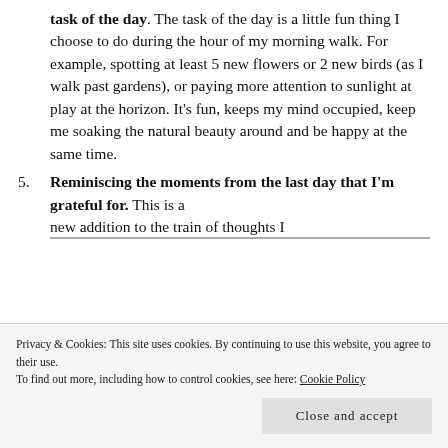task of the day. The task of the day is a little fun thing I choose to do during the hour of my morning walk. For example, spotting at least 5 new flowers or 2 new birds (as I walk past gardens), or paying more attention to sunlight at play at the horizon. It's fun, keeps my mind occupied, keep me soaking the natural beauty around and be happy at the same time.
5. Reminiscing the moments from the last day that I'm grateful for. This is a new addition to the train of thoughts I...
Privacy & Cookies: This site uses cookies. By continuing to use this website, you agree to their use.
To find out more, including how to control cookies, see here: Cookie Policy